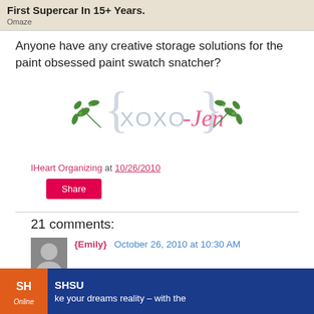[Figure (screenshot): Ad banner at top: 'First Supercar In 15+ Years.' with Omaze branding on beige background]
Anyone have any creative storage solutions for the paint obsessed paint swatch snatcher?
[Figure (illustration): XOXO-Jen signature logo with floral/leaf decoration in pink and green]
IHeart Organizing at 10/26/2010
Share
21 comments:
{Emily} October 26, 2010 at 10:30 AM
ke your dreams reality – with the
[Figure (screenshot): SHSU Online ad banner at bottom in dark blue and orange]